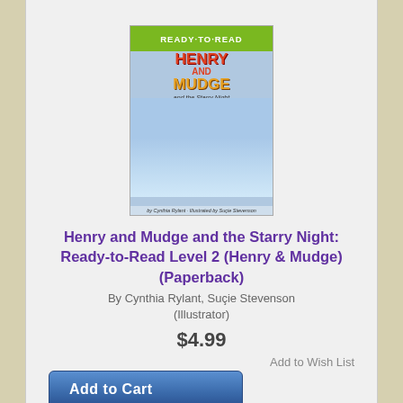[Figure (illustration): Book cover of 'Henry and Mudge and the Starry Night: Ready-to-Read Level 2' showing a green banner at top, red/orange title text, and an illustrated scene of a camping night with a dog and child.]
Henry and Mudge and the Starry Night: Ready-to-Read Level 2 (Henry & Mudge) (Paperback)
By Cynthia Rylant, Suçie Stevenson (Illustrator)
$4.99
Add to Wish List
Add to Cart
Not in Stock... Available to ship in 3-5 days